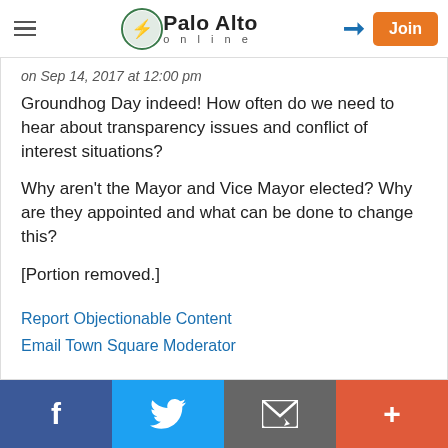Palo Alto online — navigation header with hamburger menu, logo, login arrow, and Join button
on Sep 14, 2017 at 12:00 pm
Groundhog Day indeed! How often do we need to hear about transparency issues and conflict of interest situations?
Why aren't the Mayor and Vice Mayor elected? Why are they appointed and what can be done to change this?
[Portion removed.]
Report Objectionable Content
Email Town Square Moderator
Share bar: Facebook, Twitter, Email, Plus